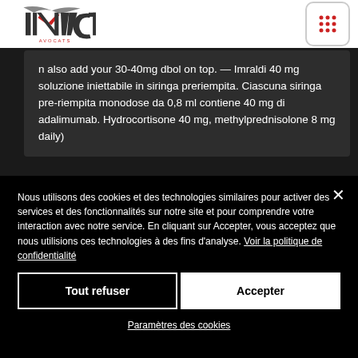[Figure (logo): Invictae Avocats logo with stylized V and red chevron mark, grey and red text]
[Figure (other): Grid/apps icon button with 9 red dots in a 3x3 grid, rounded square border]
n also add your 30-40mg dbol on top. — Imraldi 40 mg soluzione iniettabile in siringa preriempita. Ciascuna siringa pre-riempita monodose da 0,8 ml contiene 40 mg di adalimumab. Hydrocortisone 40 mg, methylprednisolone 8 mg daily)
Nous utilisons des cookies et des technologies similaires pour activer des services et des fonctionnalités sur notre site et pour comprendre votre interaction avec notre service. En cliquant sur Accepter, vous acceptez que nous utilisions ces technologies à des fins d'analyse. Voir la politique de confidentialité
Tout refuser
Accepter
Paramètres des cookies